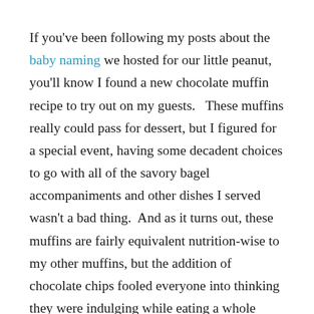If you've been following my posts about the baby naming we hosted for our little peanut, you'll know I found a new chocolate muffin recipe to try out on my guests.   These muffins really could pass for dessert, but I figured for a special event, having some decadent choices to go with all of the savory bagel accompaniments and other dishes I served wasn't a bad thing.  And as it turns out, these muffins are fairly equivalent nutrition-wise to my other muffins, but the addition of chocolate chips fooled everyone into thinking they were indulging while eating a whole grain muffin with not a ton of sugar.
My only complaint about this recipe is that the muffins turn out a little crumbly (even though they are also